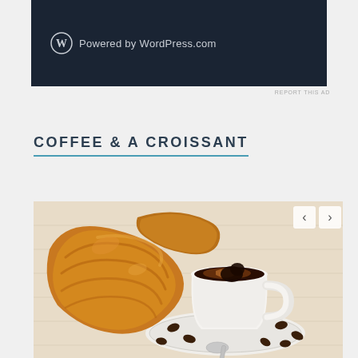[Figure (screenshot): WordPress.com advertisement banner with dark navy background showing WordPress logo (W in circle) and text 'Powered by WordPress.com']
REPORT THIS AD
COFFEE & A CROISSANT
[Figure (photo): Photo of a golden brown croissant and a white ceramic cup of black coffee on a saucer, surrounded by coffee beans and a spoon, on a light wooden surface]